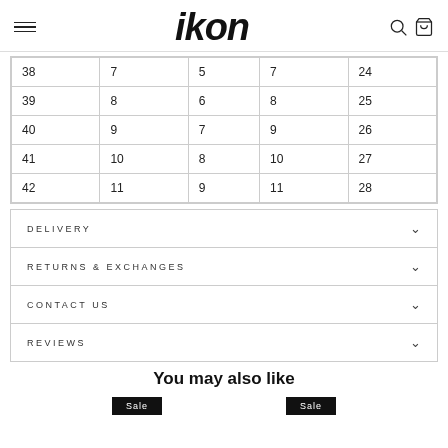IKON
| 38 | 7 | 5 | 7 | 24 |
| 39 | 8 | 6 | 8 | 25 |
| 40 | 9 | 7 | 9 | 26 |
| 41 | 10 | 8 | 10 | 27 |
| 42 | 11 | 9 | 11 | 28 |
DELIVERY
RETURNS & EXCHANGES
CONTACT US
REVIEWS
You may also like
Sale Sale